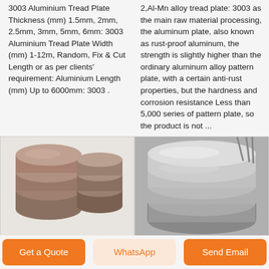3003 Aluminium Tread Plate Thickness (mm) 1.5mm, 2mm, 2.5mm, 3mm, 5mm, 6mm: 3003 Aluminium Tread Plate Width (mm) 1-12m, Random, Fix & Cut Length or as per clients' requirement: Aluminium Length (mm) Up to 6000mm: 3003 .
2,Al-Mn alloy tread plate: 3003 as the main raw material processing, the aluminum plate, also known as rust-proof aluminum, the strength is slightly higher than the ordinary aluminum alloy pattern plate, with a certain anti-rust properties, but the hardness and corrosion resistance Less than 5,000 series of pattern plate, so the product is not ...
[Figure (photo): Stacked circular aluminum discs, brownish metallic color, on white background]
[Figure (photo): Stacked silver aluminum circles/discs, shiny metallic finish, viewed from slightly above]
Get a Quote
WhatsApp
Send Email